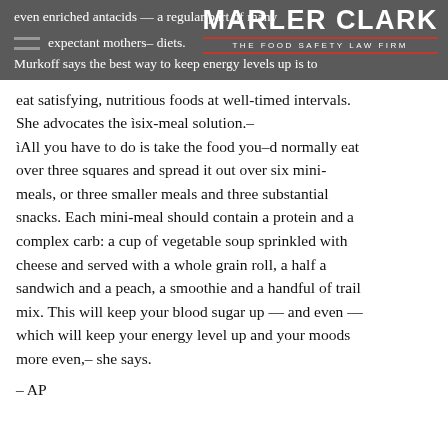even enriched antacids — a regular part of many expectant mothers– diets.
Murkoff says the best way to keep energy levels up is to eat satisfying, nutritious foods at well-timed intervals. She advocates the ìsix-meal solution.– ìAll you have to do is take the food you–d normally eat over three squares and spread it out over six mini-meals, or three smaller meals and three substantial snacks. Each mini-meal should contain a protein and a complex carb: a cup of vegetable soup sprinkled with cheese and served with a whole grain roll, a half a sandwich and a peach, a smoothie and a handful of trail mix. This will keep your blood sugar up — and even — which will keep your energy level up and your moods more even,– she says.
– AP